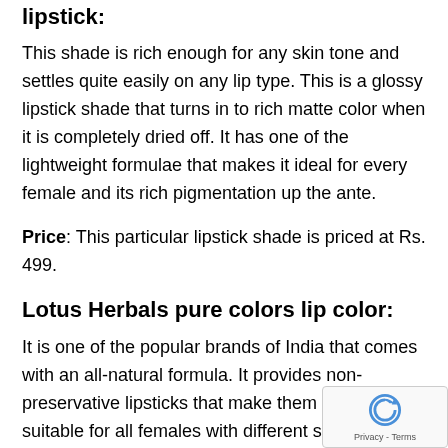lipstick:
This shade is rich enough for any skin tone and settles quite easily on any lip type. This is a glossy lipstick shade that turns in to rich matte color when it is completely dried off. It has one of the lightweight formulae that makes it ideal for every female and its rich pigmentation up the ante.
Price: This particular lipstick shade is priced at Rs. 499.
Lotus Herbals pure colors lip color:
It is one of the popular brands of India that comes with an all-natural formula. It provides non-preservative lipsticks that make them more suitable for all females with different skin types.
They combine all kinds of natural extracts to formulate